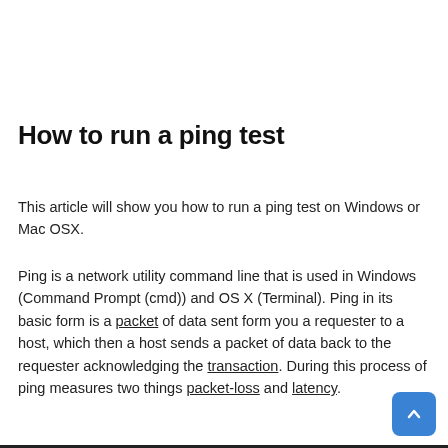How to run a ping test
This article will show you how to run a ping test on Windows or Mac OSX.
Ping is a network utility command line that is used in Windows (Command Prompt (cmd)) and OS X (Terminal). Ping in its basic form is a packet of data sent form you a requester to a host, which then a host sends a packet of data back to the requester acknowledging the transaction. During this process of ping measures two things packet-loss and latency.